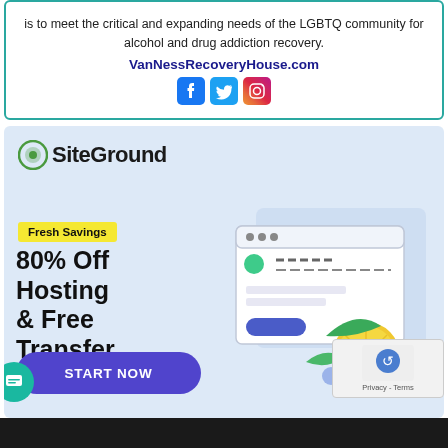is to meet the critical and expanding needs of the LGBTQ community for alcohol and drug addiction recovery.
VanNessRecoveryHouse.com
[Figure (illustration): Social media icons: Facebook, Twitter, Instagram]
[Figure (illustration): SiteGround advertisement banner with logo, 'Fresh Savings' badge, '80% Off Hosting & Free Transfer' offer text, browser window illustration with lemon decorations, 'START NOW' button, and privacy badge.]